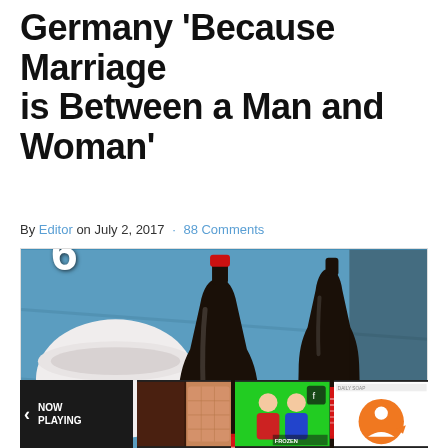Germany 'Because Marriage is Between a Man and Woman'
By Editor on July 2, 2017 · 88 Comments
[Figure (photo): Two Coca-Cola glass bottles on a blue wooden surface with a white bowl in the background. A large number 6 appears in the lower left corner overlay.]
[Figure (photo): Four thumbnail images at the bottom: a dark video thumbnail with 'NOW PLAYING' text and left arrow; a food/pizza close-up; two young men with TikTok logo on green background; and a circular orange graphic with a person.]